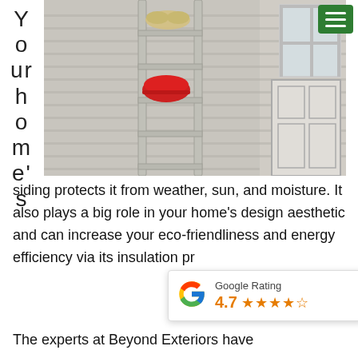Your home's siding protects it from weather, sun, and moisture. It also plays a big role in your home's design aesthetic and can increase your eco-friendliness and energy efficiency via its insulation pro...
[Figure (photo): A metal ladder leaning against a house with light gray vinyl siding and a white door, with yellow work gloves hanging on the ladder and a red hard hat resting on a rung.]
[Figure (infographic): Google Rating widget showing a rating of 4.7 out of 5 stars with the Google G logo.]
The experts at Beyond Exteriors have